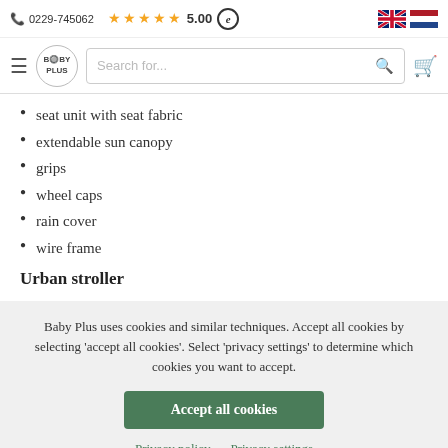📞 0229-745062  ★★★★★ 5.00  🇬🇧 🇳🇱
seat unit with seat fabric
extendable sun canopy
grips
wheel caps
rain cover
wire frame
Urban stroller
Baby Plus uses cookies and similar techniques. Accept all cookies by selecting 'accept all cookies'. Select 'privacy settings' to determine which cookies you want to accept.
Accept all cookies
Privacy policy   Privacy settings